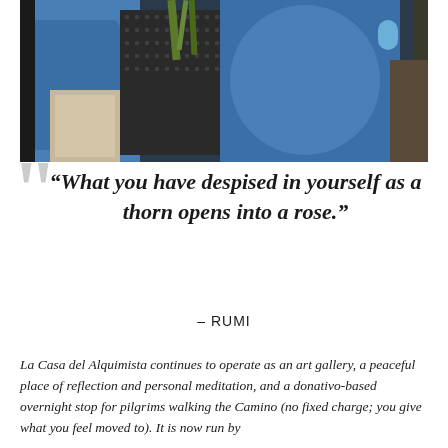[Figure (photo): Close-up photograph of a backpack with blue fabric and mesh pockets, with some natural/dried plant material visible. Travel gear associated with pilgrimage walking.]
“What you have despised in yourself as a thorn opens into a rose.”
– RUMI
La Casa del Alquimista continues to operate as an art gallery, a peaceful place of reflection and personal meditation, and a donativo-based overnight stop for pilgrims walking the Camino (no fixed charge; you give what you feel moved to). It is now run by